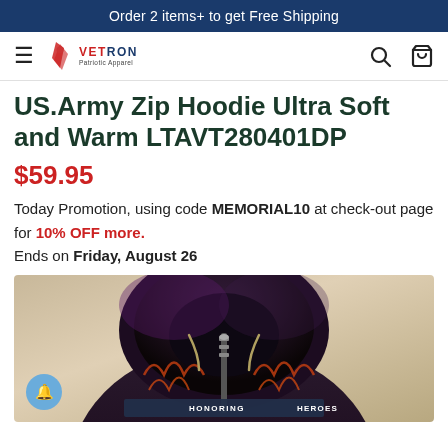Order 2 items+ to get Free Shipping
[Figure (logo): Vetron brand logo with hamburger menu, red soldier icon, brand name VETRON, search icon and cart icon]
US.Army Zip Hoodie Ultra Soft and Warm LTAVT280401DP
$59.95
Today Promotion, using code MEMORIAL10 at check-out page for 10% OFF more. Ends on Friday, August 26
[Figure (photo): Product photo of US Army zip hoodie with dark patterned design, showing the hood area and a banner reading HONORING HEROES at the bottom]